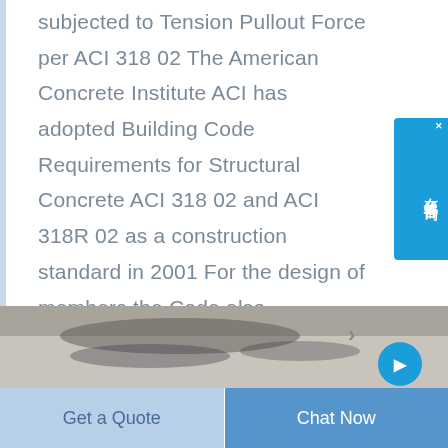subjected to Tension Pullout Force per ACI 318 02 The American Concrete Institute ACI has adopted Building Code Requirements for Structural Concrete ACI 318 02 and ACI 318R 02 as a construction standard in 2001 For the design of members the Code also introduces new concepts of compression
[Figure (photo): Partial photo strip at bottom of page showing a blurred/dark engineering or construction scene with a blue circular button element overlaid]
Get a Quote
Chat Now